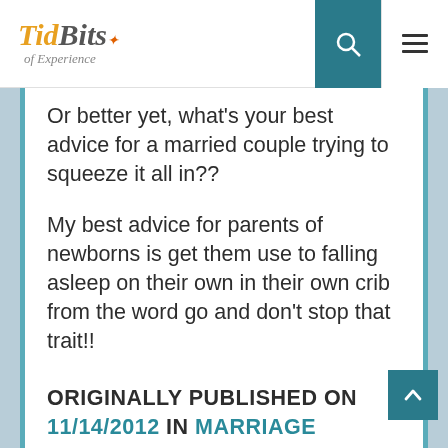TidBits of Experience
Or better yet, what’s your best advice for a married couple trying to squeeze it all in??
My best advice for parents of newborns is get them use to falling asleep on their own in their own crib from the word go and don’t stop that trait!!
ORIGINALLY PUBLISHED ON 11/14/2012 IN MARRIAGE